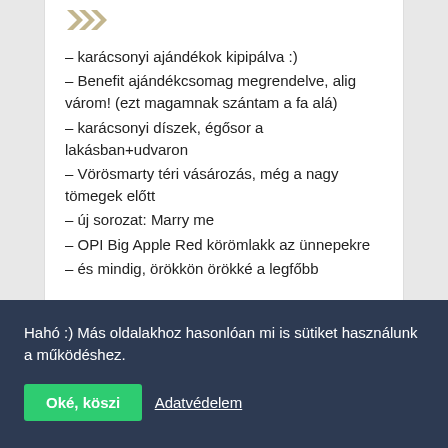[Figure (logo): Decorative arrow/chevron logo in gold/tan color at top of content card]
– karácsonyi ajándékok kipipálva :)
– Benefit ajándékcsomag megrendelve, alig várom! (ezt magamnak szántam a fa alá)
– karácsonyi díszek, égősor a lakásban+udvaron
– Vörösmarty téri vásározás, még a nagy tömegek előtt
– új sorozat: Marry me
– OPI Big Apple Red körömlakk az ünnepekre
– és mindig, örökkön örökké a legfőbb
Hahó :) Más oldalakhoz hasonlóan mi is sütiket használunk a működéshez.
Oké, köszi   Adatvédelem